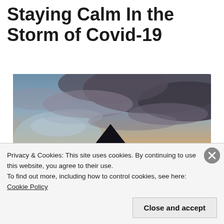Staying Calm In the Storm of Covid-19
[Figure (photo): Dramatic stormy cloudy sky at dusk with dark mountain silhouettes in the foreground and warm orange/amber sunset glow on the horizon.]
Privacy & Cookies: This site uses cookies. By continuing to use this website, you agree to their use.
To find out more, including how to control cookies, see here: Cookie Policy
Close and accept